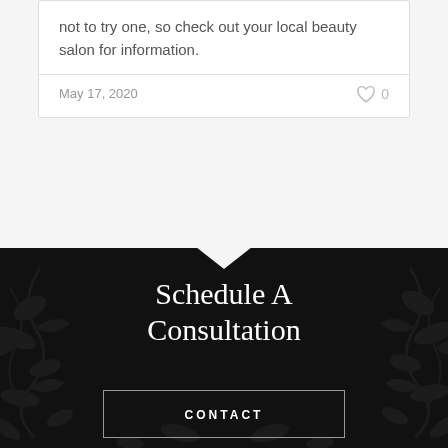not to try one, so check out your local beauty salon for information.
May 17, 2020
0
Schedule A Consultation
CONTACT